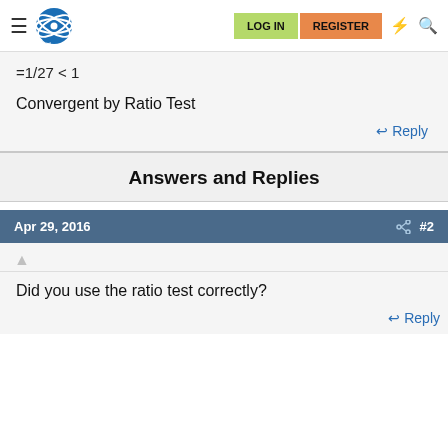LOG IN | REGISTER
Convergent by Ratio Test
Reply
Answers and Replies
Apr 29, 2016   #2
Did you use the ratio test correctly?
Reply